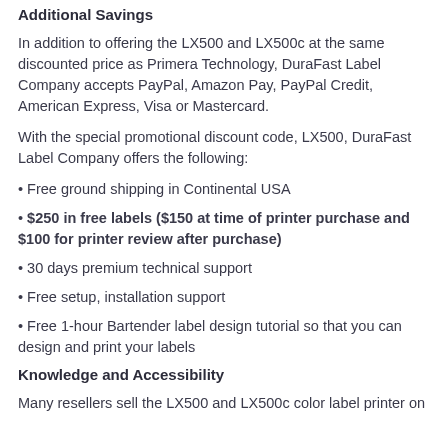Additional Savings
In addition to offering the LX500 and LX500c at the same discounted price as Primera Technology, DuraFast Label Company accepts PayPal, Amazon Pay, PayPal Credit, American Express, Visa or Mastercard.
With the special promotional discount code, LX500, DuraFast Label Company offers the following:
Free ground shipping in Continental USA
$250 in free labels ($150 at time of printer purchase and $100 for printer review after purchase)
30 days premium technical support
Free setup, installation support
Free 1-hour Bartender label design tutorial so that you can design and print your labels
Knowledge and Accessibility
Many resellers sell the LX500 and LX500c color label printer on